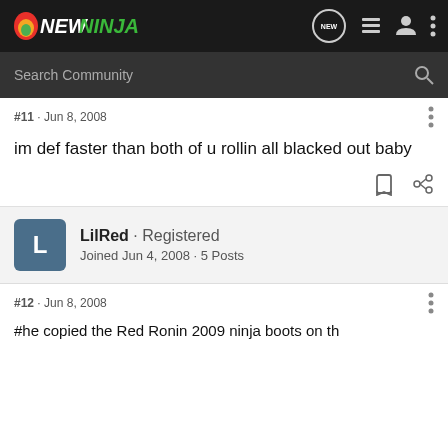NEWNINJA
#11 · Jun 8, 2008
im def faster than both of u rollin all blacked out baby
LilRed · Registered
Joined Jun 4, 2008 · 5 Posts
#12 · Jun 8, 2008